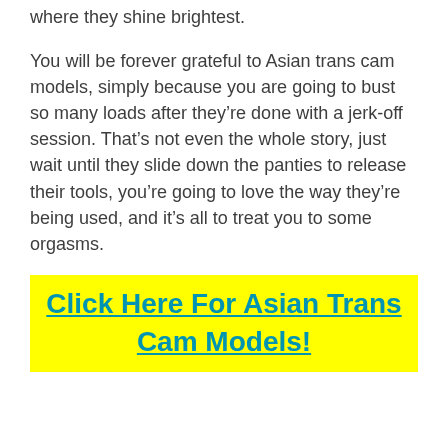where they shine brightest.
You will be forever grateful to Asian trans cam models, simply because you are going to bust so many loads after they’re done with a jerk-off session. That’s not even the whole story, just wait until they slide down the panties to release their tools, you’re going to love the way they’re being used, and it’s all to treat you to some orgasms.
Click Here For Asian Trans Cam Models!